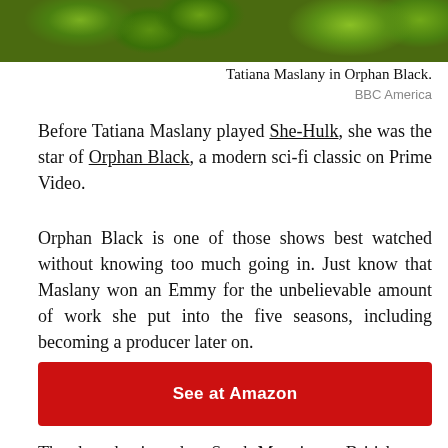[Figure (photo): Top portion of a photo showing Tatiana Maslany in Orphan Black, with green foliage and warm tones visible]
Tatiana Maslany in Orphan Black.
BBC America
Before Tatiana Maslany played She-Hulk, she was the star of Orphan Black, a modern sci-fi classic on Prime Video.
Orphan Black is one of those shows best watched without knowing too much going in. Just know that Maslany won an Emmy for the unbelievable amount of work she put into the five seasons, including becoming a producer later on.
See at Amazon
The show begins when Sarah Manning, a British con-artist who wears The Clash T-shirts, witnesses a woman jump in front of a train. The twist: this woman looks exactly like her. Are they long-lost identical